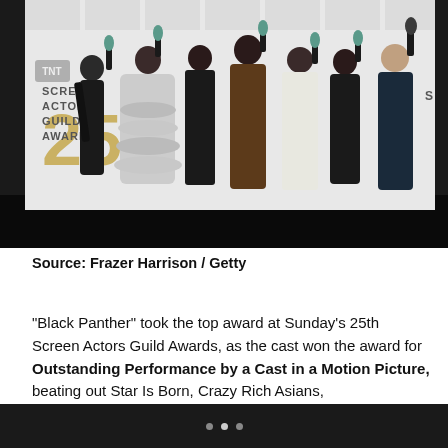[Figure (photo): Group photo of the Black Panther cast holding SAG Awards trophies at the 25th Screen Actors Guild Awards, in front of a SAG Awards backdrop. Multiple cast members in formal attire holding teal/green statuettes.]
Source: Frazer Harrison / Getty
“Black Panther” took the top award at Sunday’s 25th Screen Actors Guild Awards, as the cast won the award for Outstanding Performance by a Cast in a Motion Picture, beating out Star Is Born, Crazy Rich Asians, BlacKkKlansman and Bohemian Rhapsody.